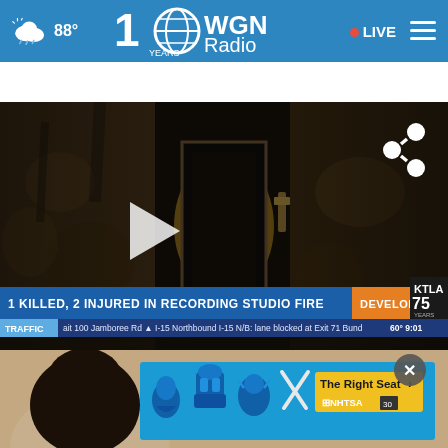88° WGN Radio 100 YEARS • LIVE
1 killed, 2 injured in Hollywood recording studio fire
[Figure (screenshot): Video screenshot of fire-damaged hallway/corridor inside a recording studio with smoke damage visible on walls and a bright light at the end. Lower third graphic reads '1 KILLED, 2 INJURED IN RECORDING STUDIO FIRE' with DEVELOPING badge and KTLA 75 YEARS logo. Ticker below shows TRAFFIC with I-15 Northbound information. Temperature 60° and time 9:01.]
[Figure (screenshot): Advertisement banner on blue background featuring car seat safety icons and 'The Right Seat >' CTA button in yellow, with NHTSA branding. Appears over a person's image with a gray X close button.]